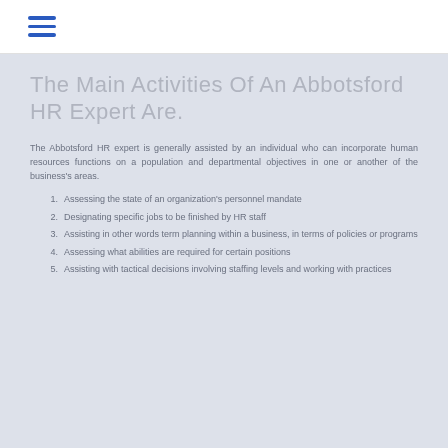☰
The Main Activities Of An Abbotsford HR Expert Are.
The Abbotsford HR expert is generally assisted by an individual who can incorporate human resources functions on a population and departmental objectives in one or another of the business's areas.
Assessing the state of an organization's personnel mandate
Designating specific jobs to be finished by HR staff
Assisting in other words term planning within a business, in terms of policies or programs
Assessing what abilities are required for certain positions
Assisting with tactical decisions involving staffing levels and working with practices